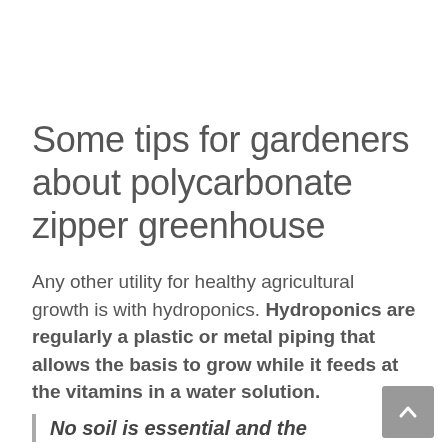Some tips for gardeners about polycarbonate zipper greenhouse
Any other utility for healthy agricultural growth is with hydroponics. Hydroponics are regularly a plastic or metal piping that allows the basis to grow while it feeds at the vitamins in a water solution.
No soil is essential and the